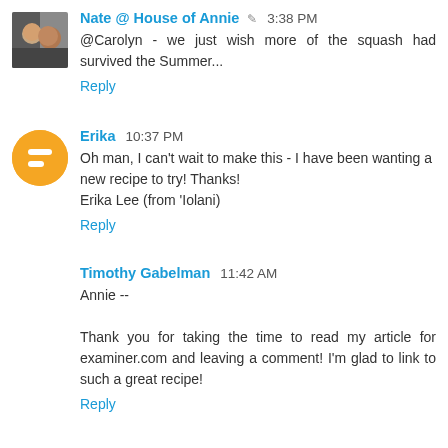Nate @ House of Annie 3:38 PM
@Carolyn - we just wish more of the squash had survived the Summer...
Reply
Erika 10:37 PM
Oh man, I can't wait to make this - I have been wanting a new recipe to try! Thanks!
Erika Lee (from 'Iolani)
Reply
Timothy Gabelman 11:42 AM
Annie --

Thank you for taking the time to read my article for examiner.com and leaving a comment! I'm glad to link to such a great recipe!
Reply